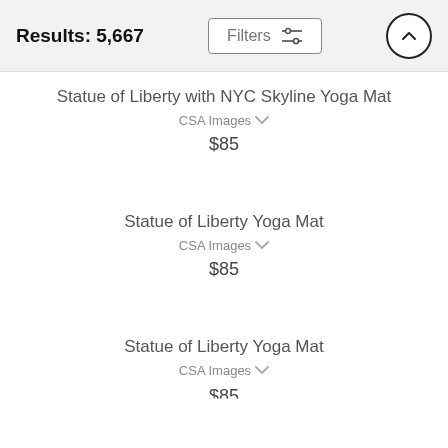Results: 5,667
Statue of Liberty with NYC Skyline Yoga Mat
CSA Images
$85
Statue of Liberty Yoga Mat
CSA Images
$85
Statue of Liberty Yoga Mat
CSA Images
$85